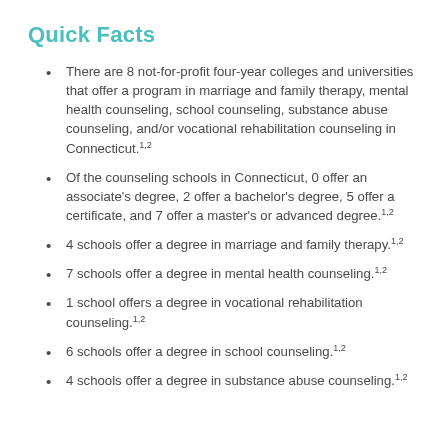Quick Facts
There are 8 not-for-profit four-year colleges and universities that offer a program in marriage and family therapy, mental health counseling, school counseling, substance abuse counseling, and/or vocational rehabilitation counseling in Connecticut.1,2
Of the counseling schools in Connecticut, 0 offer an associate's degree, 2 offer a bachelor's degree, 5 offer a certificate, and 7 offer a master's or advanced degree.1,2
4 schools offer a degree in marriage and family therapy.1,2
7 schools offer a degree in mental health counseling.1,2
1 school offers a degree in vocational rehabilitation counseling.1,2
6 schools offer a degree in school counseling.1,2
4 schools offer a degree in substance abuse counseling.1,2